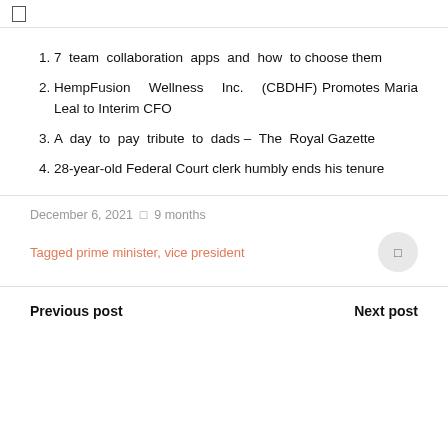☐
7 team collaboration apps and how to choose them
HempFusion Wellness Inc. (CBDHF) Promotes Maria Leal to Interim CFO
A day to pay tribute to dads – The Royal Gazette
28-year-old Federal Court clerk humbly ends his tenure
December 6, 2021 · 9 months
Tagged prime minister, vice president
Previous post   Next post